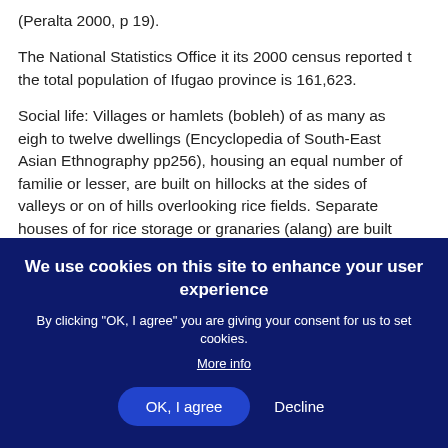(Peralta 2000, p 19).
The National Statistics Office it its 2000 census reported that the total population of Ifugao province is 161,623.
Social life: Villages or hamlets (bobleh) of as many as eight to twelve dwellings (Encyclopedia of South-East Asian Ethnography pp256), housing an equal number of families or lesser, are built on hillocks at the sides of valleys or on of hills overlooking rice fields. Separate houses of for rice storage or granaries (alang) are built within these villages and owed by the wealthy landed families (kadangyan) who may not necessarily be residents of the village. Houses are made of timber, bamboos, and rest on four posts, with thatch roofs. Residential houses are generally low and...
We use cookies on this site to enhance your user experience
By clicking "OK, I agree" you are giving your consent for us to set cookies.
More info
OK, I agree
Decline